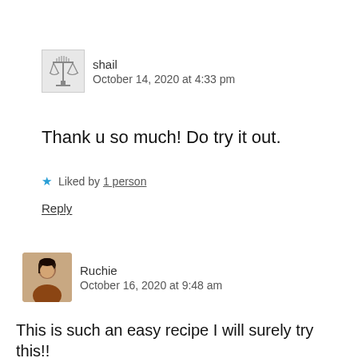shail
October 14, 2020 at 4:33 pm
Thank u so much! Do try it out.
Liked by 1 person
Reply
Ruchie
October 16, 2020 at 9:48 am
This is such an easy recipe I will surely try this!!